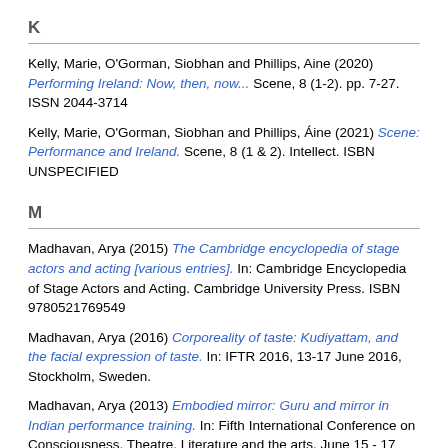K
Kelly, Marie, O'Gorman, Siobhan and Phillips, Aine (2020) Performing Ireland: Now, then, now... Scene, 8 (1-2). pp. 7-27. ISSN 2044-3714
Kelly, Marie, O'Gorman, Siobhan and Phillips, Áine (2021) Scene: Performance and Ireland. Scene, 8 (1 & 2). Intellect. ISBN UNSPECIFIED
M
Madhavan, Arya (2015) The Cambridge encyclopedia of stage actors and acting [various entries]. In: Cambridge Encyclopedia of Stage Actors and Acting. Cambridge University Press. ISBN 9780521769549
Madhavan, Arya (2016) Corporeality of taste: Kudiyattam, and the facial expression of taste. In: IFTR 2016, 13-17 June 2016, Stockholm, Sweden.
Madhavan, Arya (2013) Embodied mirror: Guru and mirror in Indian performance training. In: Fifth International Conference on Consciousness, Theatre, Literature and the arts, June 15 - 17 2013, University of Lincoln.